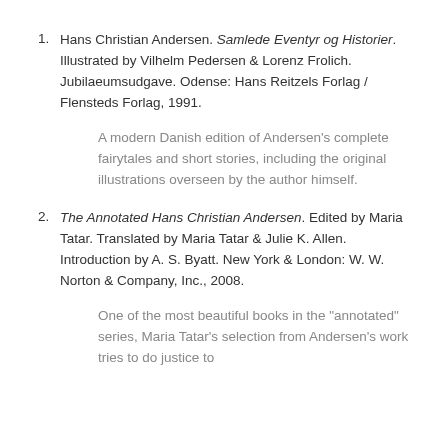1. Hans Christian Andersen. Samlede Eventyr og Historier. Illustrated by Vilhelm Pedersen & Lorenz Frolich. Jubilaeumsudgave. Odense: Hans Reitzels Forlag / Flensteds Forlag, 1991.
A modern Danish edition of Andersen's complete fairytales and short stories, including the original illustrations overseen by the author himself.
2. The Annotated Hans Christian Andersen. Edited by Maria Tatar. Translated by Maria Tatar & Julie K. Allen. Introduction by A. S. Byatt. New York & London: W. W. Norton & Company, Inc., 2008.
One of the most beautiful books in the "annotated" series, Maria Tatar's selection from Andersen's work tries to do justice to